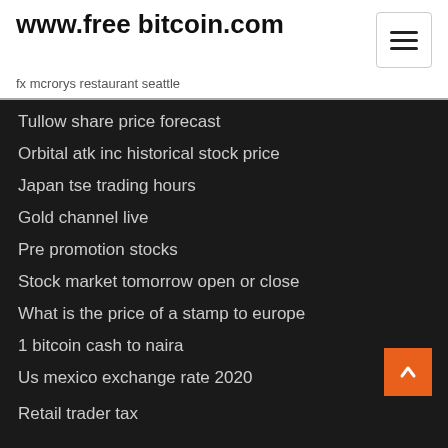www.free bitcoin.com
fx mcrorys restaurant seattle
Tullow share price forecast
Orbital atk inc historical stock price
Japan tse trading hours
Gold channel live
Pre promotion stocks
Stock market tomorrow open or close
What is the price of a stamp to europe
1 bitcoin cash to naira
Us mexico exchange rate 2020
Retail trader tax